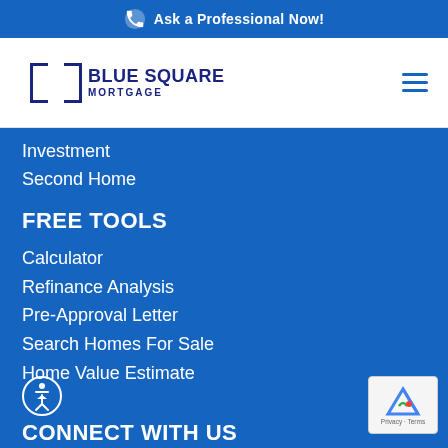Ask a Professional Now!
[Figure (logo): Blue Square Mortgage logo with square bracket graphic and company name]
Investment
Second Home
FREE TOOLS
Calculator
Refinance Analysis
Pre-Approval Letter
Search Homes For Sale
Home Value Estimate
CONNECT WITH US